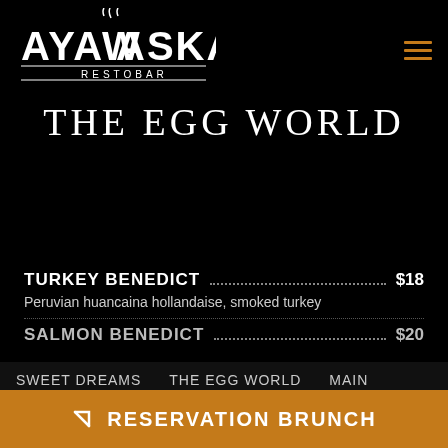[Figure (logo): Ayawaska Restobar logo — stylized white lettering with steam above and a horizontal line below reading RESTOBAR]
THE EGG WORLD
TURKEY BENEDICT ................ $18
Peruvian huancaina hollandaise, smoked turkey
SALMON BENEDICT ................ $20
SWEET DREAMS   THE EGG WORLD   MAIN   DRINKS
RESERVATION BRUNCH